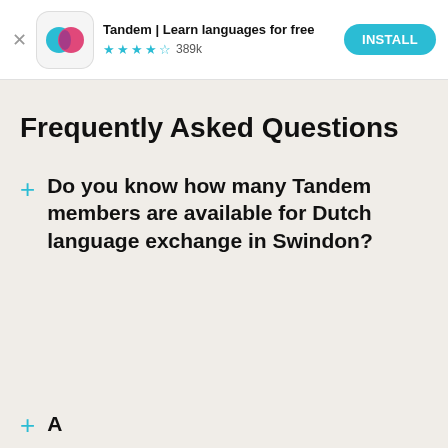[Figure (screenshot): App store banner for Tandem: Learn languages for free, with app icon, 4.5 star rating with 389k reviews, and Install button]
Frequently Asked Questions
Do you know how many Tandem members are available for Dutch language exchange in Swindon?
(partial, cut off at bottom)